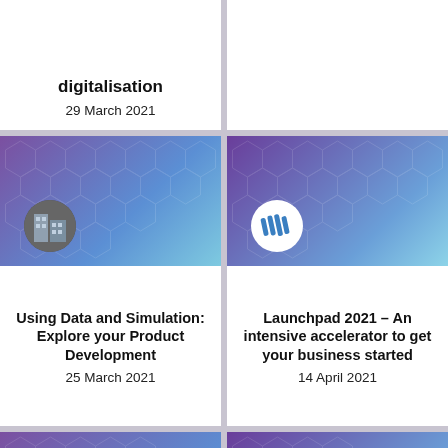digitalisation
29 March 2021
[Figure (photo): Purple-blue gradient background with circular building photo logo, card image for Using Data and Simulation event]
Using Data and Simulation: Explore your Product Development
25 March 2021
[Figure (logo): Purple-blue gradient background with white circular logo showing blue parallel lines, card image for Launchpad 2021 event]
Launchpad 2021 – An intensive accelerator to get your business started
14 April 2021
[Figure (photo): Purple-blue gradient background with UK flag circular logo, partial card at bottom left]
[Figure (logo): Purple-blue gradient background with green KTN circular logo, partial card at bottom right]